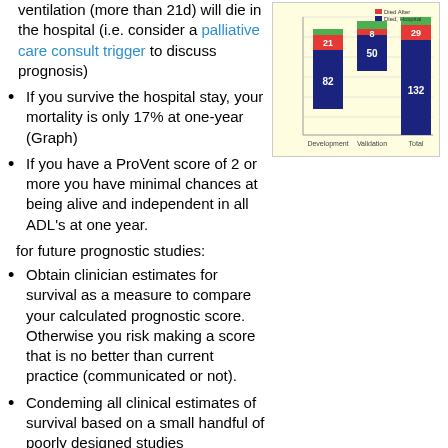ventilation (more than 21d) will die in the hospital (i.e. consider a palliative care consult trigger to discuss prognosis)
[Figure (stacked-bar-chart): Hospital outcomes by cohort]
If you survive the hospital stay, your mortality is only 17% at one-year (Graph)
If you have a ProVent score of 2 or more you have minimal chances at being alive and independent in all ADL's at one year.
for future prognostic studies:
Obtain clinician estimates for survival as a measure to compare your calculated prognostic score. Otherwise you risk making a score that is no better than current practice (communicated or not).
Condeming all clinical estimates of survival based on a small handful of poorly designed studies